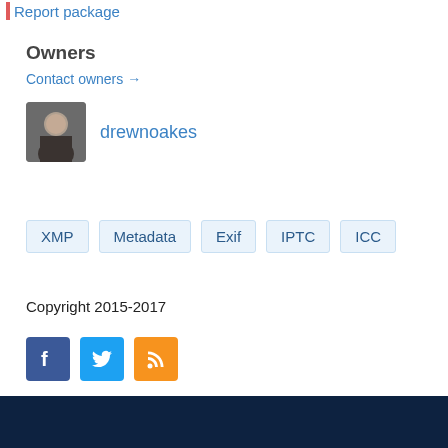Report package
Owners
Contact owners →
[Figure (photo): Avatar photo of drewnoakes]
drewnoakes
XMP
Metadata
Exif
IPTC
ICC
Copyright 2015-2017
[Figure (logo): Facebook, Twitter, and RSS feed social icons]